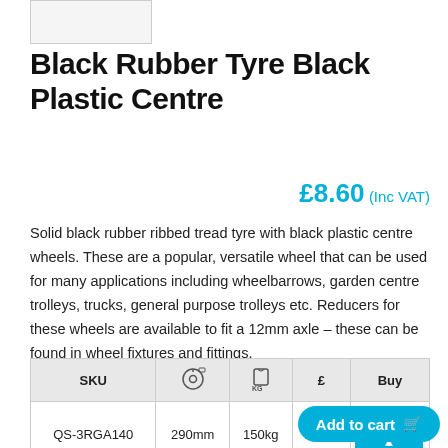[Figure (photo): Product thumbnail image placeholder of a wheel/tyre]
Black Rubber Tyre Black Plastic Centre
£8.60 (Inc VAT)
Solid black rubber ribbed tread tyre with black plastic centre wheels. These are a popular, versatile wheel that can be used for many applications including wheelbarrows, garden centre trolleys, trucks, general purpose trolleys etc. Reducers for these wheels are available to fit a 12mm axle – these can be found in wheel fixtures and fittings.
| SKU | [diameter icon] | [weight icon] | £ | Buy |
| --- | --- | --- | --- | --- |
| QS-3RGA140 | 290mm | 150kg | £8.60 | 0 ▲ |